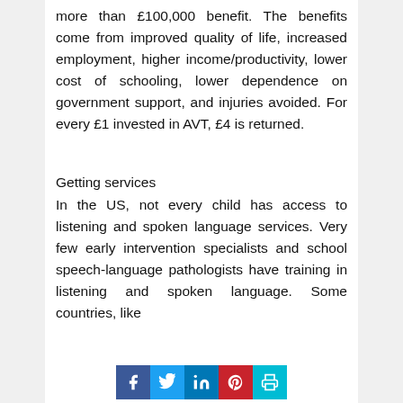more than £100,000 benefit. The benefits come from improved quality of life, increased employment, higher income/productivity, lower cost of schooling, lower dependence on government support, and injuries avoided. For every £1 invested in AVT, £4 is returned.
Getting services
In the US, not every child has access to listening and spoken language services. Very few early intervention specialists and school speech-language pathologists have training in listening and spoken language. Some countries, like
[Figure (other): Social media sharing icons: Facebook, Twitter, LinkedIn, Pinterest, Print]